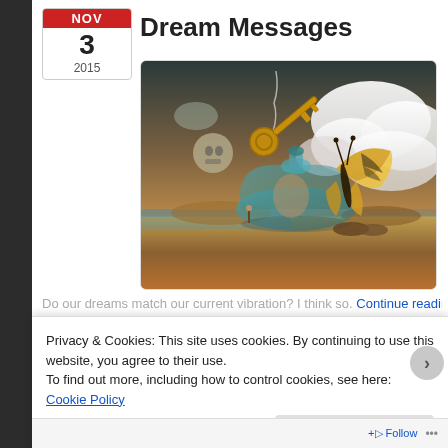Dream Messages
NOV 3 2015
[Figure (illustration): Surrealist digital illustration showing a floating glass bottle with a butterfly on it, a large golden key floating above, and a skull-moon in a dramatic sky with clouds over a reflective landscape.]
Do our dreams match our current vibration? I think so. Continue reading
Privacy & Cookies: This site uses cookies. By continuing to use this website, you agree to their use.
To find out more, including how to control cookies, see here: Cookie Policy
Close and accept